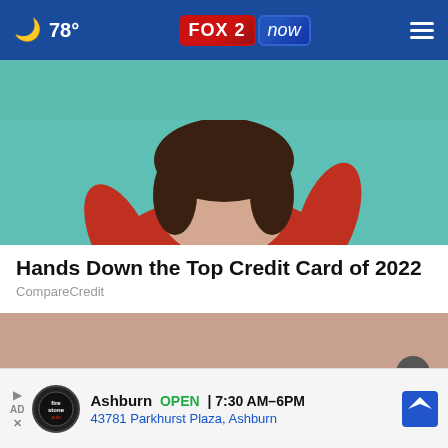🌙 78° | FOX 2 now | menu
[Figure (photo): Cropped photo of a young woman in a red turtleneck sweater against a teal/turquoise background, head partially cut off at top]
Hands Down the Top Credit Card of 2022
CompareCredit
[Figure (photo): Extreme close-up macro photo of elderly person's mouth/lips area showing wrinkled skin and red lipstick]
[Figure (other): Advertisement banner: Ashburn OPEN 7:30AM-6PM, 43781 Parkhurst Plaza, Ashburn, Firestone Auto Care logo, navigation arrow button, close X button]